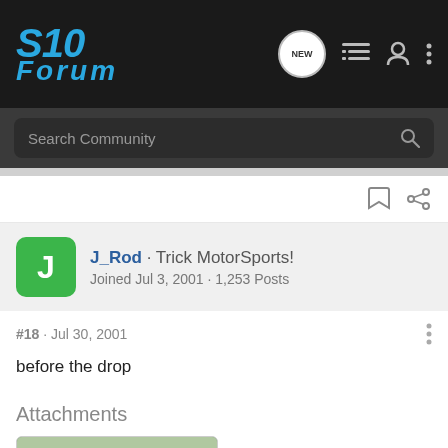S10 Forum
Search Community
J_Rod · Trick MotorSports! Joined Jul 3, 2001 · 1,253 Posts
#18 · Jul 30, 2001
before the drop
Attachments
[Figure (photo): Thumbnail of a vehicle photo attachment]